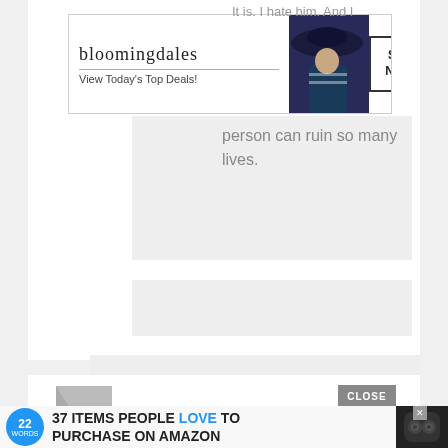[Figure (screenshot): Bloomingdale's banner advertisement showing logo, 'View Today's Top Deals!' tagline, woman in navy blue hat, and 'SHOP NOW >' button]
It is. I hate him. And I
person can ruin so many lives.
[Figure (screenshot): Nested comment/reply boxes on a webpage, shown as indented gray blocks]
[Figure (screenshot): Bottom section of webpage showing a user avatar icon area and CLOSE button]
[Figure (advertisement): 22 Words advertisement: '37 ITEMS PEOPLE LOVE TO PURCHASE ON AMAZON' with blue circular badge showing '22 WORDS' and product image of wireless earbuds case]